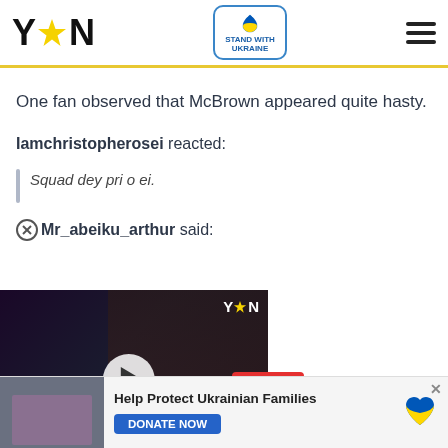YEN - Stand with Ukraine
One fan observed that McBrown appeared quite hasty.
Iamchristopherosei reacted:
Squad dey pri o ei.
Mr_abeiku_arthur said:
[Figure (screenshot): Video thumbnail showing a woman being interviewed with a YEN watermark and play button overlay]
[Figure (infographic): Ukraine donation ad banner: Help Protect Ukrainian Families - DONATE NOW button with Ukraine flag heart icon]